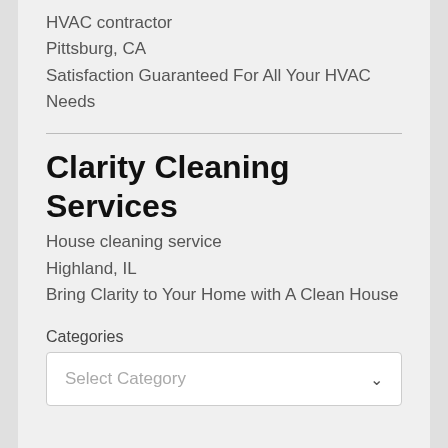HVAC contractor
Pittsburg, CA
Satisfaction Guaranteed For All Your HVAC Needs
Clarity Cleaning Services
House cleaning service
Highland, IL
Bring Clarity to Your Home with A Clean House
Categories
Select Category